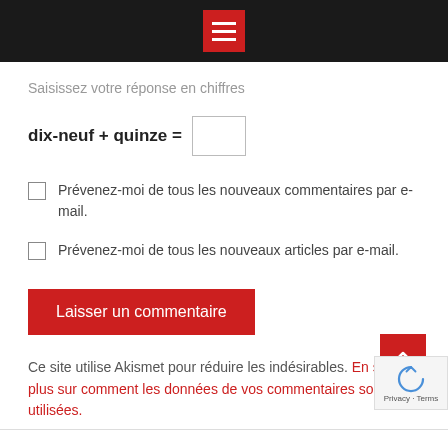≡ (menu icon)
Saisissez votre réponse en chiffres
dix-neuf + quinze = [input]
Prévenez-moi de tous les nouveaux commentaires par e-mail.
Prévenez-moi de tous les nouveaux articles par e-mail.
Laisser un commentaire
Ce site utilise Akismet pour réduire les indésirables. En savoir plus sur comment les données de vos commentaires sont utilisées.